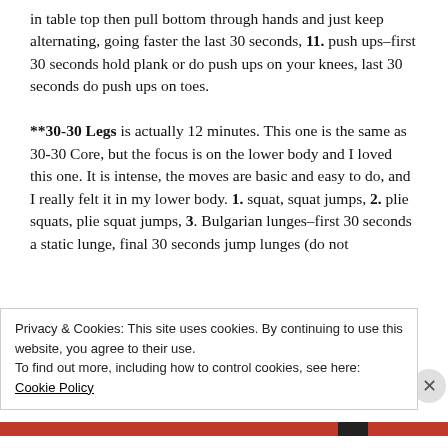in table top then pull bottom through hands and just keep alternating, going faster the last 30 seconds, 11. push ups–first 30 seconds hold plank or do push ups on your knees, last 30 seconds do push ups on toes.

**30-30 Legs is actually 12 minutes. This one is the same as 30-30 Core, but the focus is on the lower body and I loved this one. It is intense, the moves are basic and easy to do, and I really felt it in my lower body. 1. squat, squat jumps, 2. plie squats, plie squat jumps, 3. Bulgarian lunges–first 30 seconds a static lunge, final 30 seconds jump lunges (do not
Privacy & Cookies: This site uses cookies. By continuing to use this website, you agree to their use.
To find out more, including how to control cookies, see here: Cookie Policy
Close and accept